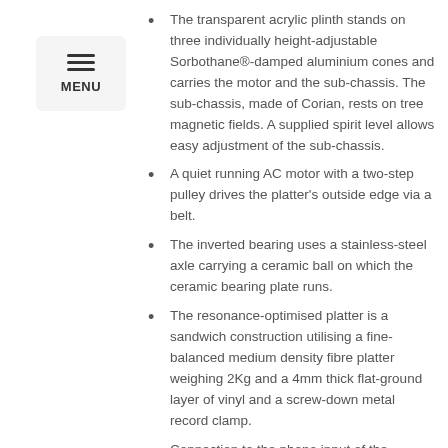MENU
The transparent acrylic plinth stands on three individually height-adjustable Sorbothane®-damped aluminium cones and carries the motor and the sub-chassis. The sub-chassis, made of Corian, rests on tree magnetic fields. A supplied spirit level allows easy adjustment of the sub-chassis.
A quiet running AC motor with a two-step pulley drives the platter's outside edge via a belt.
The inverted bearing uses a stainless-steel axle carrying a ceramic ball on which the ceramic bearing plate runs.
The resonance-optimised platter is a sandwich construction utilising a fine-balanced medium density fibre platter weighing 2Kg and a 4mm thick flat-ground layer of vinyl and a screw-down metal record clamp.
Connection to the phono input of the amplifier can be made with connecting cables of your taste through the gold plated phono sockets and earth